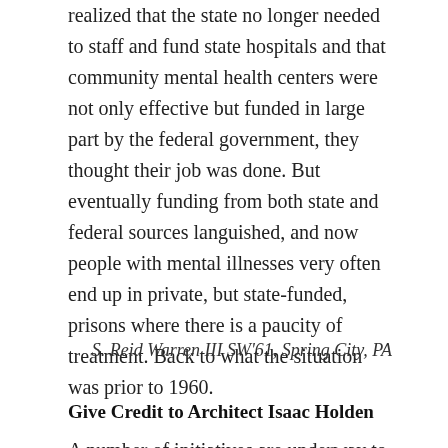realized that the state no longer needed to staff and fund state hospitals and that community mental health centers were not only effective but funded in large part by the federal government, they thought their job was done. But eventually funding from both state and federal sources languished, and now people with mental illnesses very often end up in private, but state-funded, prisons where there is a paucity of treatment. Back to what the situation was prior to 1960.
S. Reid Warren III SW'61, Spring City, PA
Give Credit to Architect Isaac Holden
A number of initiatives are underway to honor Dr. Holden's role...